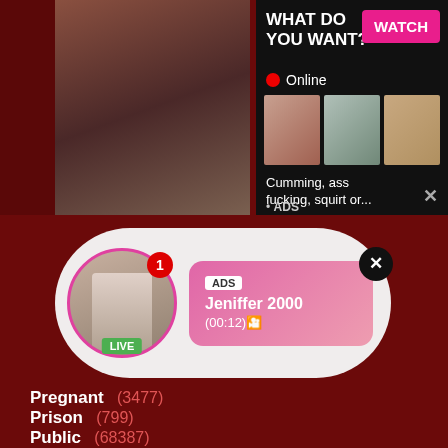[Figure (screenshot): Adult website screenshot showing an advertisement banner at the top with an image on the left and ad panel on the right with 'WHAT DO YOU WANT?' headline, WATCH button, Online indicator, thumbnail images, and text 'Cumming, ass fucking, squirt or...' with ADS label]
[Figure (screenshot): Notification popup overlay showing a live avatar with LIVE badge and notification badge, ADS tag, username 'Jeniffer 2000', time '(00:12)' on a pink gradient background]
Pregnant   (3477)
Prison   (799)
Public   (68387)
Punished   (4120)
Pussy   (83027)